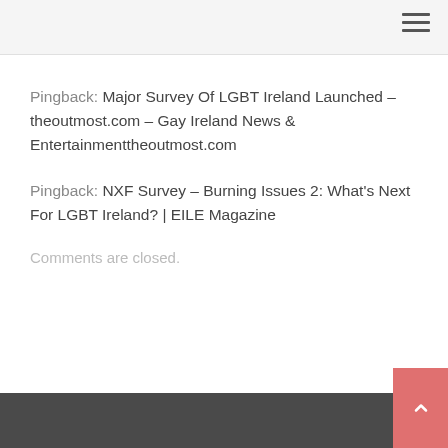Pingback: Major Survey Of LGBT Ireland Launched - theoutmost.com - Gay Ireland News & Entertainmenttheoutmost.com
Pingback: NXF Survey – Burning Issues 2: What's Next For LGBT Ireland? | EILE Magazine
Comments are closed.